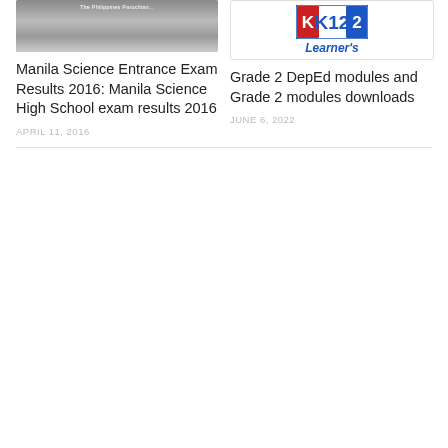[Figure (photo): Photo of a school building exterior with text overlay reading 'The Philippines Parochian...']
[Figure (logo): K12 logo badge in red, white, and blue with 'Learner's' text below in blue italic]
Manila Science Entrance Exam Results 2016: Manila Science High School exam results 2016
APRIL 11, 2016
Grade 2 DepEd modules and Grade 2 modules downloads
JUNE 6, 2022